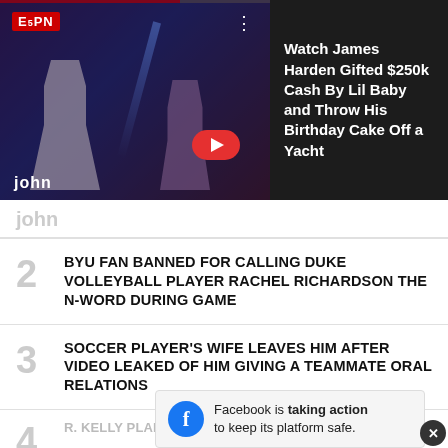[Figure (screenshot): Video thumbnail showing people at a nightclub/party with blue lighting, ESPN logo overlay, red progress bar at top, and a red play button arrow.]
Watch James Harden Gifted $250k Cash By Lil Baby and Throw His Birthday Cake Off a Yacht
John
2 BYU FAN BANNED FOR CALLING DUKE VOLLEYBALL PLAYER RACHEL RICHARDSON THE N-WORD DURING GAME
3 SOCCER PLAYER'S WIFE LEAVES HIM AFTER VIDEO LEAKED OF HIM GIVING A TEAMMATE ORAL RELATIONS
4 R. KELLY PLANS TO SNITCH ON ALL THE CELEBRITIES...
Facebook is taking action to keep its platform safe.